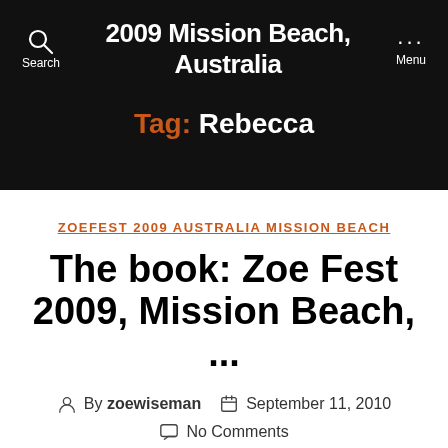2009 Mission Beach, Australia
Tag: Rebecca
ZOEFEST 2009 AUSTRALIA MISSION BEACH
The book: Zoe Fest 2009, Mission Beach, ...
By zoewiseman  September 11, 2010  No Comments